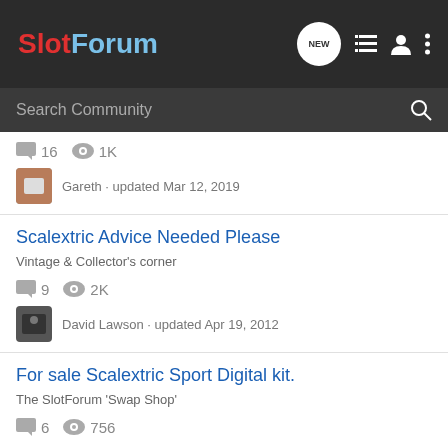SlotForum
Search Community
16 replies · 1K views · Gareth · updated Mar 12, 2019
Scalextric Advice Needed Please
Vintage & Collector's corner
9 replies · 2K views · David Lawson · updated Apr 19, 2012
For sale Scalextric Sport Digital kit.
The SlotForum 'Swap Shop'
6 replies · 756 views